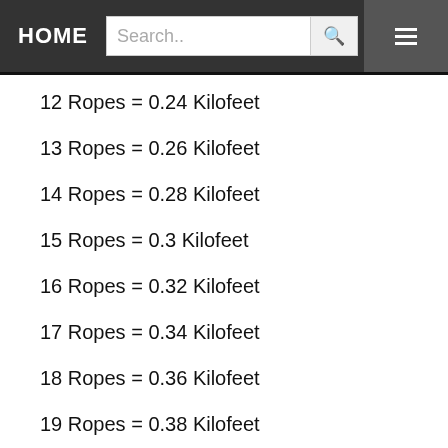HOME | Search..
12 Ropes = 0.24 Kilofeet
13 Ropes = 0.26 Kilofeet
14 Ropes = 0.28 Kilofeet
15 Ropes = 0.3 Kilofeet
16 Ropes = 0.32 Kilofeet
17 Ropes = 0.34 Kilofeet
18 Ropes = 0.36 Kilofeet
19 Ropes = 0.38 Kilofeet
20 Ropes = 0.4 Kilofeet
21 Ropes = 0.42 Kilofeet